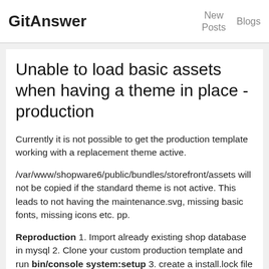GitAnswer   New Posts   Blogs
Unable to load basic assets when having a theme in place - production
Currently it is not possible to get the production template working with a replacement theme active.
/var/www/shopware6/public/bundles/storefront/assets will not be copied if the standard theme is not active. This leads to not having the maintenance.svg, missing basic fonts, missing icons etc. pp.
Reproduction 1. Import already existing shop database in mysql 2. Clone your custom production template and run bin/console system:setup 3. create a install.lock file and change your domain in the database 4. run these commands bin/console assets:install && bin/console